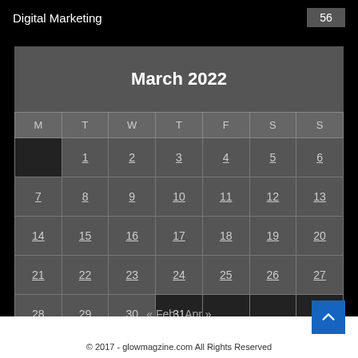Digital Marketing   56
| M | T | W | T | F | S | S |
| --- | --- | --- | --- | --- | --- | --- |
|  | 1 | 2 | 3 | 4 | 5 | 6 |
| 7 | 8 | 9 | 10 | 11 | 12 | 13 |
| 14 | 15 | 16 | 17 | 18 | 19 | 20 |
| 21 | 22 | 23 | 24 | 25 | 26 | 27 |
| 28 | 29 | 30 | 31 |  |  |  |
« Feb   Apr »
© 2017 - glowmagzine.com All Rights Reserved